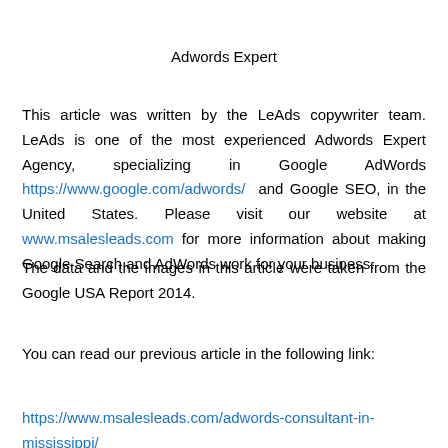Adwords Expert
This article was written by the LeAds copywriter team. LeAds is one of the most experienced Adwords Expert Agency, specializing in Google AdWords https://www.google.com/adwords/ and Google SEO, in the United States. Please visit our website at www.msalesleads.com for more information about making Google Search and AdWords work for your business.
The data and the images in this article were taken from the Google USA Report 2014.
You can read our previous article in the following link:
https://www.msalesleads.com/adwords-consultant-in-mississippi/